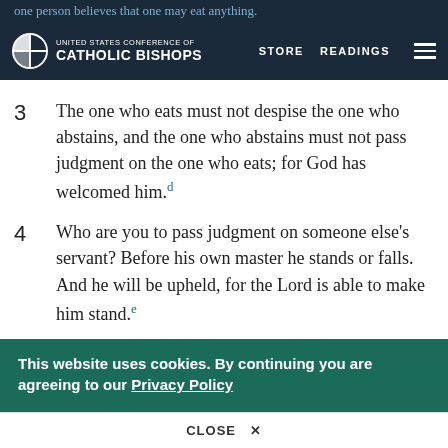UNITED STATES CONFERENCE OF CATHOLIC BISHOPS | STORE | READINGS
one person believes that one may eat anything.
3  The one who eats must not despise the one who abstains, and the one who abstains must not pass judgment on the one who eats; for God has welcomed him.d
4  Who are you to pass judgment on someone else's servant? Before his own master he stands or falls. And he will be upheld, for the Lord is able to make him stand.e
5  [For] one person considers one day more important than another, while another...
This website uses cookies. By continuing you are agreeing to our Privacy Policy